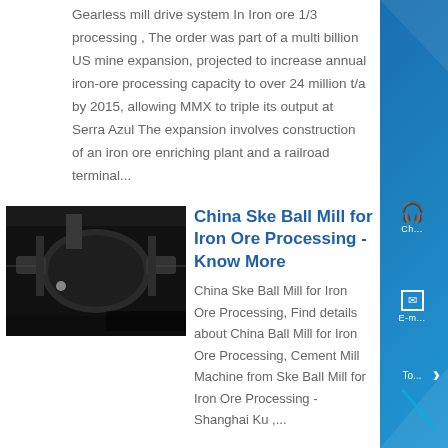Gearless mill drive system In Iron ore 1/3 processing , The order was part of a multi billion US mine expansion, projected to increase annual iron-ore processing capacity to over 24 million t/a by 2015, allowing MMX to triple its output at Serra Azul The expansion involves construction of an iron ore enriching plant and a railroad terminal...
[Figure (photo): Photo of industrial ball mill equipment, dark background]
China Ske Ball Mill for Iron Ore Processing - Know More
China Ske Ball Mill for Iron Ore Processing, Find details about China Ball Mill for Iron Ore Processing, Cement Mill Machine from Ske Ball Mill for Iron Ore Processing - Shanghai Ku ,...